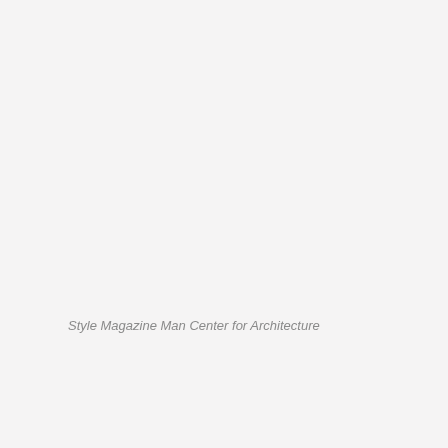Style Magazine Man Center for Architecture